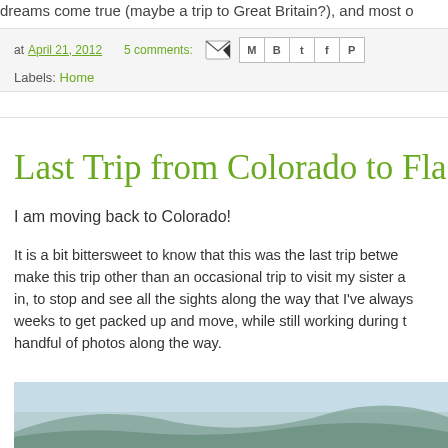dreams come true (maybe a trip to Great Britain?), and most o
at April 21, 2012   5 comments:   Labels: Home
Last Trip from Colorado to Flagstaff
I am moving back to Colorado!
It is a bit bittersweet to know that this was the last trip betwe... make this trip other than an occasional trip to visit my sister a... in, to stop and see all the sights along the way that I've always... weeks to get packed up and move, while still working during t... handful of photos along the way.
[Figure (photo): Landscape photo showing mountains or rocky terrain with sky at the top]